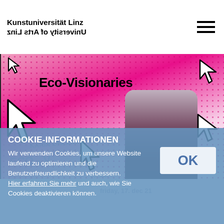Kunstuniversität Linz / University of Arts Linz
[Figure (screenshot): Eco-Visionaries promotional image with pink halftone background, cursor arrow icons, bold 'Eco-Visionaries' title text, and a portrait photo of a person in a rounded rectangle frame on the right.]
COOKIE-INFORMATIONEN
Wir verwenden Cookies, um unsere Website laufend zu optimieren und die Benutzerfreundlichkeit zu verbessern. Hier erfahren Sie mehr und auch, wie Sie Cookies deaktivieren können.